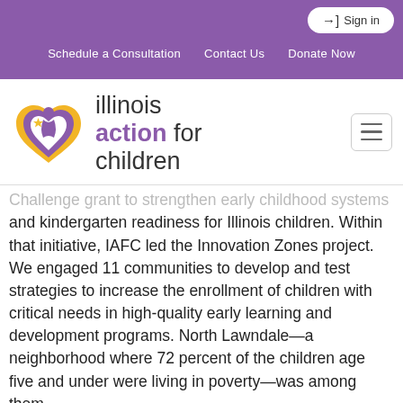Sign in | Schedule a Consultation | Contact Us | Donate Now
[Figure (logo): Illinois Action for Children logo — purple/gold heart with child figure and text 'illinois action for children']
Challenge grant to strengthen early childhood systems and kindergarten readiness for Illinois children. Within that initiative, IAFC led the Innovation Zones project. We engaged 11 communities to develop and test strategies to increase the enrollment of children with critical needs in high-quality early learning and development programs. North Lawndale—a neighborhood where 72 percent of the children age five and under were living in poverty—was among them.